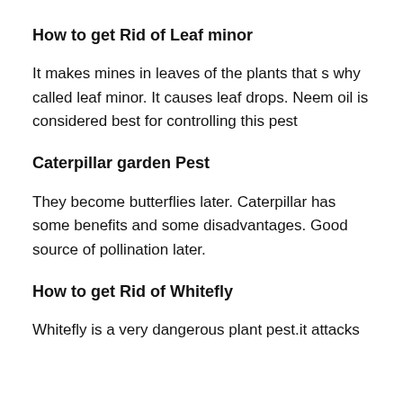How to get Rid of Leaf minor
It makes mines in leaves of the plants that s why called leaf minor. It causes leaf drops. Neem oil is considered best for controlling this pest
Caterpillar garden Pest
They become butterflies later. Caterpillar has some benefits and some disadvantages. Good source of pollination later.
How to get Rid of Whitefly
Whitefly is a very dangerous plant pest.it attacks